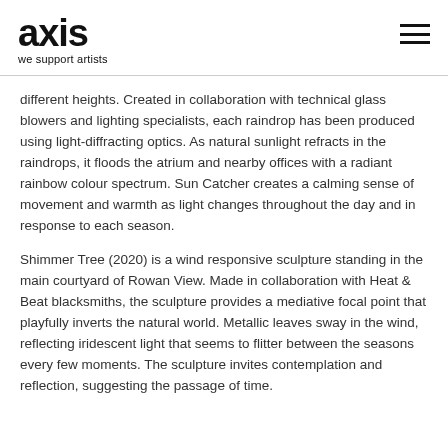axis
we support artists
different heights. Created in collaboration with technical glass blowers and lighting specialists, each raindrop has been produced using light-diffracting optics. As natural sunlight refracts in the raindrops, it floods the atrium and nearby offices with a radiant rainbow colour spectrum. Sun Catcher creates a calming sense of movement and warmth as light changes throughout the day and in response to each season.
Shimmer Tree (2020) is a wind responsive sculpture standing in the main courtyard of Rowan View. Made in collaboration with Heat & Beat blacksmiths, the sculpture provides a mediative focal point that playfully inverts the natural world. Metallic leaves sway in the wind, reflecting iridescent light that seems to flitter between the seasons every few moments. The sculpture invites contemplation and reflection, suggesting the passage of time.